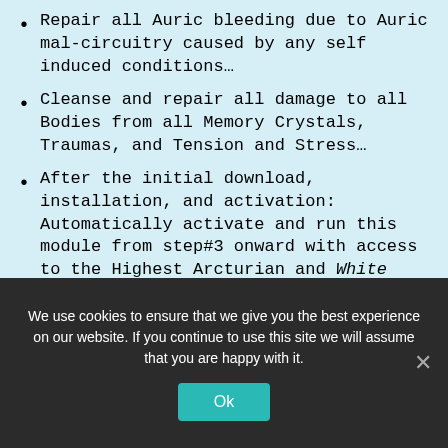Repair all Auric bleeding due to Auric mal-circuitry caused by any self induced conditions…
Cleanse and repair all damage to all Bodies from all Memory Crystals, Traumas, and Tension and Stress…
After the initial download, installation, and activation: Automatically activate and run this module from step#3 onward with access to the Highest Arcturian and White Brotherhood / Sisterhood of Light Medical-Healing/ Geometry/Grids Techies teams for
We use cookies to ensure that we give you the best experience on our website. If you continue to use this site we will assume that you are happy with it.